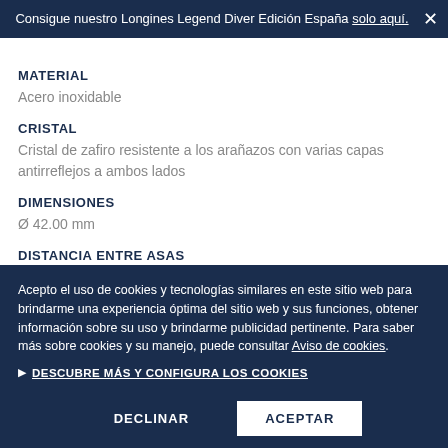Consigue nuestro Longines Legend Diver Edición España solo aquí.
MATERIAL
Acero inoxidable
CRISTAL
Cristal de zafiro resistente a los arañazos con varias capas antirreflejos a ambos lados
DIMENSIONES
Ø 42.00 mm
DISTANCIA ENTRE ASAS
Acepto el uso de cookies y tecnologías similares en este sitio web para brindarme una experiencia óptima del sitio web y sus funciones, obtener información sobre su uso y brindarme publicidad pertinente. Para saber más sobre cookies y su manejo, puede consultar Aviso de cookies.
DESCUBRE MÁS Y CONFIGURA LOS COOKIES
DECLINAR
ACEPTAR